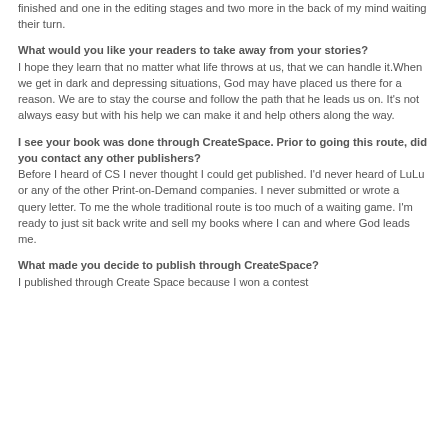finished and one in the editing stages and two more in the back of my mind waiting their turn.
What would you like your readers to take away from your stories?
I hope they learn that no matter what life throws at us, that we can handle it.When we get in dark and depressing situations, God may have placed us there for a reason. We are to stay the course and follow the path that he leads us on. It's not always easy but with his help we can make it and help others along the way.
I see your book was done through CreateSpace. Prior to going this route, did you contact any other publishers?
Before I heard of CS I never thought I could get published. I'd never heard of LuLu or any of the other Print-on-Demand companies. I never submitted or wrote a query letter. To me the whole traditional route is too much of a waiting game. I'm ready to just sit back write and sell my books where I can and where God leads me.
What made you decide to publish through CreateSpace?
I published through Create Space because I won a contest